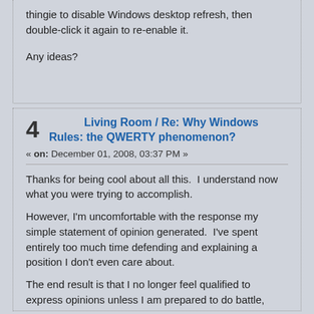thingie to disable Windows desktop refresh, then double-click it again to re-enable it.

Any ideas?
4   Living Room / Re: Why Windows Rules: the QWERTY phenomenon?
« on: December 01, 2008, 03:37 PM »
Thanks for being cool about all this.  I understand now what you were trying to accomplish.
However, I'm uncomfortable with the response my simple statement of opinion generated.  I've spent entirely too much time defending and explaining a position I don't even care about.
The end result is that I no longer feel qualified to express opinions unless I am prepared to do battle,